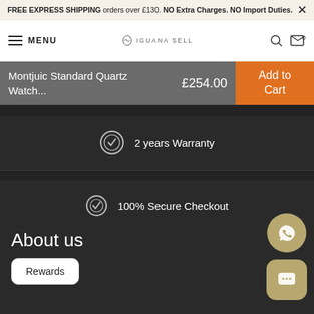FREE EXPRESS SHIPPING orders over £130. NO Extra Charges. NO Import Duties.
MENU  IGUANA SELL  0
Montjuic Standard Quartz Watch...  £254.00  Add to Cart
2 years Warranty
100% Secure Checkout
About us
Rewards